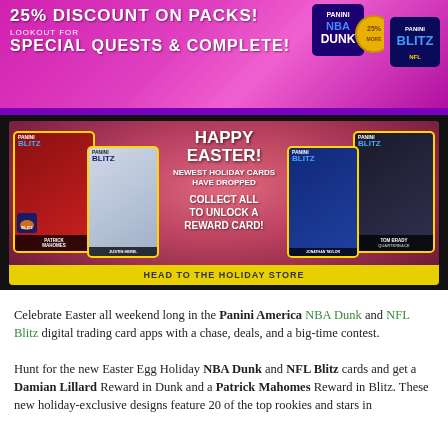[Figure (infographic): Top promotional banner with purple/pink gradient background showing '25% DISCOUNT ON PACKS!' and 'LOOKOUT FOR SPECIAL QUESTS & COMPLETE!' text with Panini Dunk and NFL Blitz logos on the right side.]
[Figure (infographic): Easter promotional banner on dark background showing football trading cards with players including Patrick Mahomes and Tom Brady, centered text reading 'HAPPY EASTER! NEWEST HOLIDAY CARDS HAVE DROPPED COLLECT ALL TO UNLOCK A REWARD CARD!' and a yellow bottom bar saying 'HEAD TO THE HOLIDAY STORE']
Celebrate Easter all weekend long in the Panini America NBA Dunk and NFL Blitz digital trading card apps with a chase, deals, and a big-time contest.
Hunt for the new Easter Egg Holiday NBA Dunk and NFL Blitz cards and get a Damian Lillard Reward in Dunk and a Patrick Mahomes Reward in Blitz. These new holiday-exclusive designs feature 20 of the top rookies and stars in